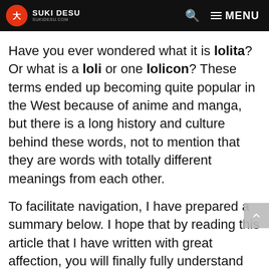SUKI DESU | MENU
Have you ever wondered what it is lolita? Or what is a loli or one lolicon? These terms ended up becoming quite popular in the West because of anime and manga, but there is a long history and culture behind these words, not to mention that they are words with totally different meanings from each other.
To facilitate navigation, I have prepared a summary below. I hope that by reading this article that I have written with great affection, you will finally fully understand the full meaning and differences between lolita, loli